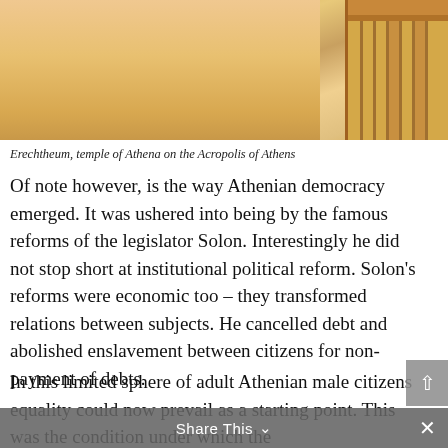[Figure (photo): Photograph of the Erechtheum, temple of Athena on the Acropolis of Athens. Shows golden/warm-toned columns against a hazy sky.]
Erechtheum, temple of Athena on the Acropolis of Athens
Of note however, is the way Athenian democracy emerged. It was ushered into being by the famous reforms of the legislator Solon. Interestingly he did not stop short at institutional political reform. Solon's reforms were economic too – they transformed relations between subjects. He cancelled debt and abolished enslavement between citizens for non-payment of debts.
In this limited sphere of adult Athenian male citizens equality could now prevail as a starting point. This was the condition under which the
Share This